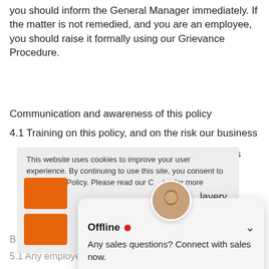you should inform the General Manager immediately. If the matter is not remedied, and you are an employee, you should raise it formally using our Grievance Procedure.
Communication and awareness of this policy
4.1 Training on this policy, and on the risk our business chains, forms viduals who provided as
[Figure (screenshot): Cookie consent popup overlay on the webpage saying 'This website uses cookies to improve your user experience. By continuing to use this site, you consent to our Cookie Policy. Please read our Cookie Policy for more information.' with orange decorative blocks visible below.]
[Figure (screenshot): Chat widget showing an offline sales agent with label 'Offline' and red dot, message 'Any sales questions? Connect with sales now.' and a black 'TEXT SALES NOW' button with chevron close icon.]
Breaches of this policy
5.1 Any employee who breaches this policy will fa...